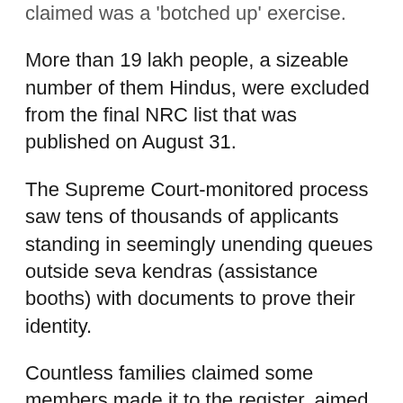claimed was a 'botched up' exercise.
More than 19 lakh people, a sizeable number of them Hindus, were excluded from the final NRC list that was published on August 31.
The Supreme Court-monitored process saw tens of thousands of applicants standing in seemingly unending queues outside seva kendras (assistance booths) with documents to prove their identity.
Countless families claimed some members made it to the register, aimed at weeding out illegal immigrants, while others could not.
Many of those deemed 'foreigner' and 'doubtful voter' were sent to detention centres, triggering condemnation. NRC coordinator Prateek Hajela was subsequently transferred out of the state amid allegations of "huge irregularities and anomalies" in conduct of the exercise, which entailed an expenditure